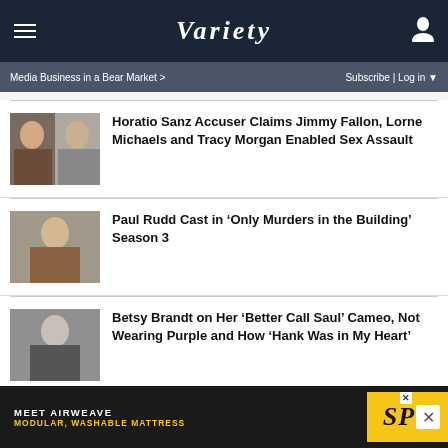Variety
Media Business in a Bear Market > Subscribe | Log in
Horatio Sanz Accuser Claims Jimmy Fallon, Lorne Michaels and Tracy Morgan Enabled Sex Assault
Paul Rudd Cast in ‘Only Murders in the Building’ Season 3
Betsy Brandt on Her ‘Better Call Saul’ Cameo, Not Wearing Purple and How ‘Hank Was in My Heart’
[Figure (photo): Advertisement: MEET AIRWEAVE MODULAR, WASHABLE MATTRESS - SPY]